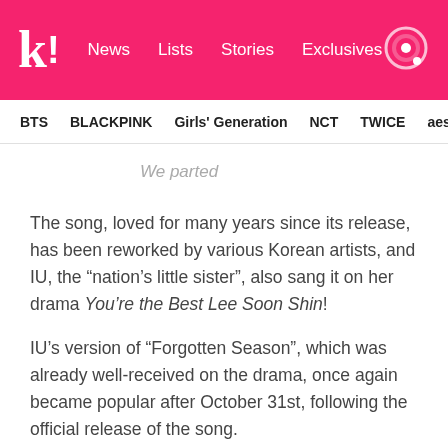k! News Lists Stories Exclusives
BTS BLACKPINK Girls' Generation NCT TWICE aespa
We parted
The song, loved for many years since its release, has been reworked by various Korean artists, and IU, the “nation’s little sister”, also sang it on her drama You’re the Best Lee Soon Shin!
IU’s version of “Forgotten Season”, which was already well-received on the drama, once again became popular after October 31st, following the official release of the song.